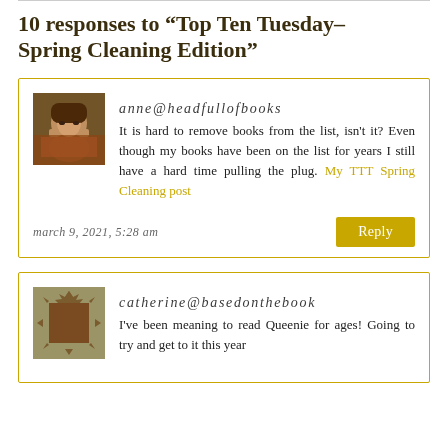10 responses to “Top Ten Tuesday–Spring Cleaning Edition”
anne@headfullofbooks
It is hard to remove books from the list, isn't it? Even though my books have been on the list for years I still have a hard time pulling the plug. My TTT Spring Cleaning post
march 9, 2021, 5:28 am
catherine@basedonthebook
I've been meaning to read Queenie for ages! Going to try and get to it this year